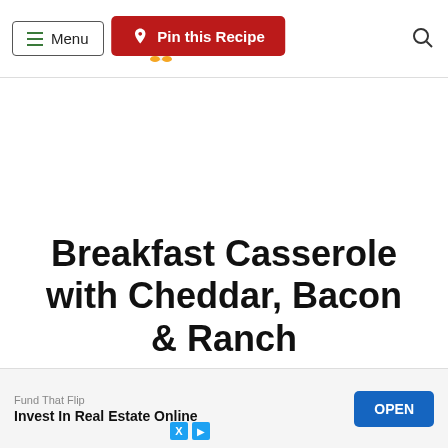Menu | Pin this Recipe
Breakfast Casserole with Cheddar, Bacon & Ranch
This Cracked Out Hash Brown Breakfast Casserole is a favorite at our house. Hash browns, eggs, milk, cheddar, bacon, and ranch. So simple, yet SO delicious! Even though this is called a breakfast casserole, we eat it for breakfast, lunch, dinner, and great
[Figure (screenshot): Ad overlay: Fund That Flip - Invest In Real Estate Online with OPEN button]